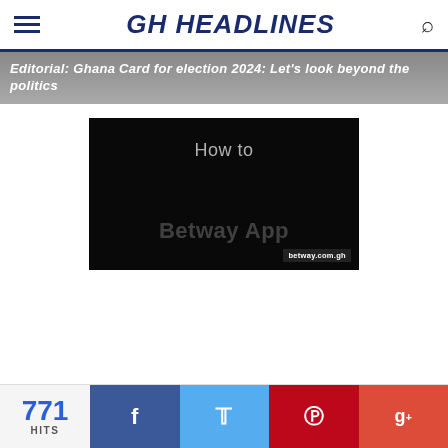GH HEADLINES
Editorial: Ghana Card for election 2024: Let's look beyond the politics
[Figure (screenshot): Dark video thumbnail showing 'How to Betway App' with betway.com.gh watermark in bottom right]
771 HITS
Social sharing buttons: Facebook, Twitter, Pinterest, Google+